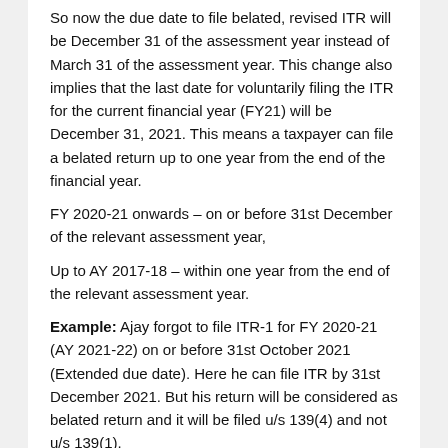So now the due date to file belated, revised ITR will be December 31 of the assessment year instead of March 31 of the assessment year. This change also implies that the last date for voluntarily filing the ITR for the current financial year (FY21) will be December 31, 2021. This means a taxpayer can file a belated return up to one year from the end of the financial year.
FY 2020-21 onwards – on or before 31st December of the relevant assessment year,
Up to AY 2017-18 – within one year from the end of the relevant assessment year.
Example: Ajay forgot to file ITR-1 for FY 2020-21 (AY 2021-22) on or before 31st October 2021 (Extended due date). Here he can file ITR by 31st December 2021. But his return will be considered as belated return and it will be filed u/s 139(4) and not u/s 139(1).
Consequences of late filing of ITR
Following are the consequences of filing Belated Return: